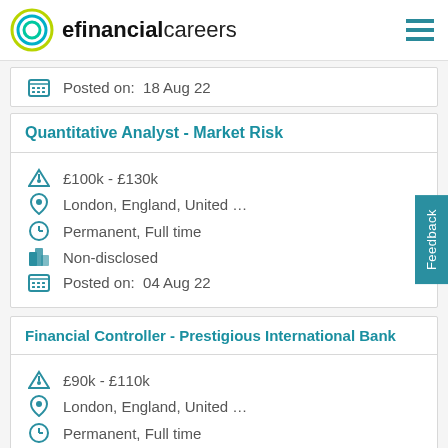efinancialcareers
Posted on:  18 Aug 22
Quantitative Analyst - Market Risk
£100k - £130k
London, England, United …
Permanent, Full time
Non-disclosed
Posted on:  04 Aug 22
Financial Controller - Prestigious International Bank
£90k - £110k
London, England, United …
Permanent, Full time